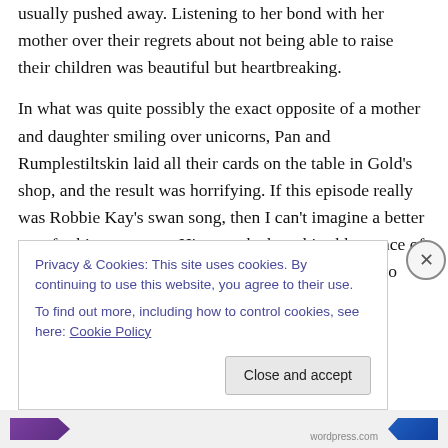usually pushed away. Listening to her bond with her mother over their regrets about not being able to raise their children was beautiful but heartbreaking.
In what was quite possibly the exact opposite of a mother and daughter smiling over unicorns, Pan and Rumplestiltskin laid all their cards on the table in Gold's shop, and the result was horrifying. If this episode really was Robbie Kay's swan song, then I can't imagine a better way for him to go out. His speech about his abhorrence of fatherhood was absolutely brutal and disgusting (Who calls their child a larva?). For once, we were given a villain
Privacy & Cookies: This site uses cookies. By continuing to use this website, you agree to their use.
To find out more, including how to control cookies, see here: Cookie Policy
Close and accept